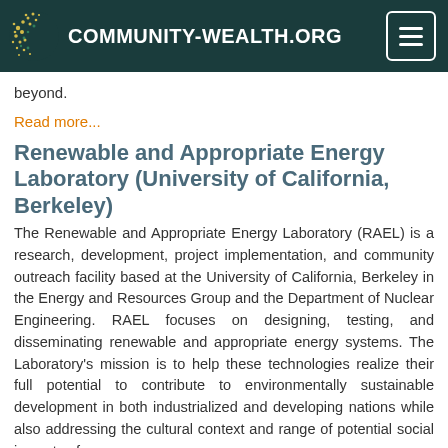COMMUNITY-WEALTH.ORG
beyond.
Read more...
Renewable and Appropriate Energy Laboratory (University of California, Berkeley)
The Renewable and Appropriate Energy Laboratory (RAEL) is a research, development, project implementation, and community outreach facility based at the University of California, Berkeley in the Energy and Resources Group and the Department of Nuclear Engineering. RAEL focuses on designing, testing, and disseminating renewable and appropriate energy systems. The Laboratory's mission is to help these technologies realize their full potential to contribute to environmentally sustainable development in both industrialized and developing nations while also addressing the cultural context and range of potential social impacts of any